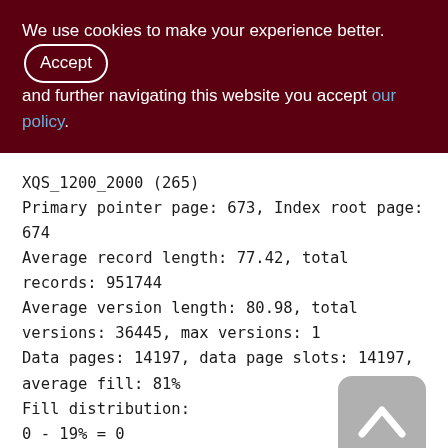We use cookies to make your experience better. By accepting and further navigating this website you accept our policy.
XQS_1200_2000 (265)
Primary pointer page: 673, Index root page: 674
Average record length: 77.42, total records: 951744
Average version length: 80.98, total versions: 36445, max versions: 1
Data pages: 14197, data page slots: 14197, average fill: 81%
Fill distribution:
0 - 19% = 0
20 - 39% = 0